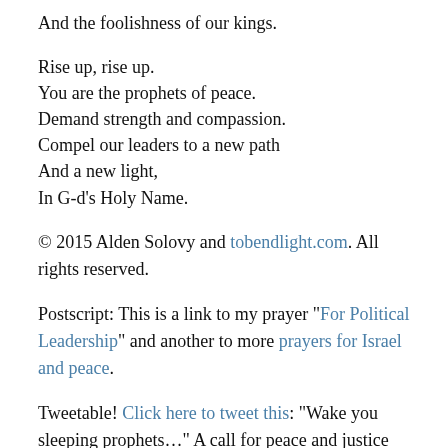And the foolishness of our kings.
Rise up, rise up.
You are the prophets of peace.
Demand strength and compassion.
Compel our leaders to a new path
And a new light,
In G-d’s Holy Name.
© 2015 Alden Solovy and tobendlight.com. All rights reserved.
Postscript: This is a link to my prayer “For Political Leadership” and another to more prayers for Israel and peace.
Tweetable! Click here to tweet this: “Wake you sleeping prophets…” A call for peace and justice by @ToBendLight. https://tobendlight.com/?p=13695
Please consider making a contribution to support this site